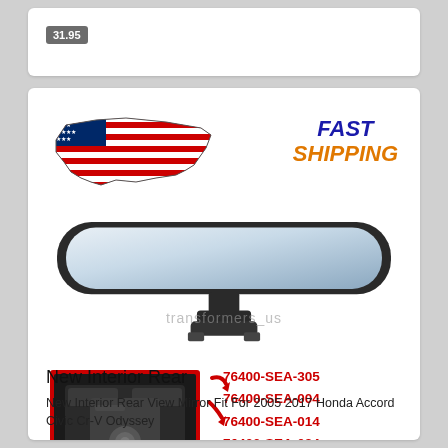31.95
[Figure (photo): US flag shaped as United States map with FAST SHIPPING text in blue and orange]
[Figure (photo): Interior rear view mirror with mounting bracket, black plastic frame, wide angle mirror]
transformers_us
[Figure (photo): Close-up of mirror mounting bracket/base detail with red border frame]
76400-SEA-305
76400-SEA-004
76400-SEA-014
76400-SEA-024
New Interior Rear
New Interior Rear View Mirror Fit For 2005 2017 Honda Accord Civic Cr-V Odyssey